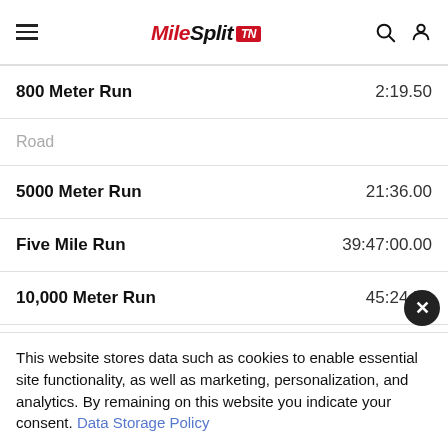MileSplit TN
| Event | Time |
| --- | --- |
| 800 Meter Run | 2:19.50 |
| Road |  |
| 5000 Meter Run | 21:36.00 |
| Five Mile Run | 39:47:00.00 |
| 10,000 Meter Run | 45:24.50 |
| CC |  |
This website stores data such as cookies to enable essential site functionality, as well as marketing, personalization, and analytics. By remaining on this website you indicate your consent. Data Storage Policy